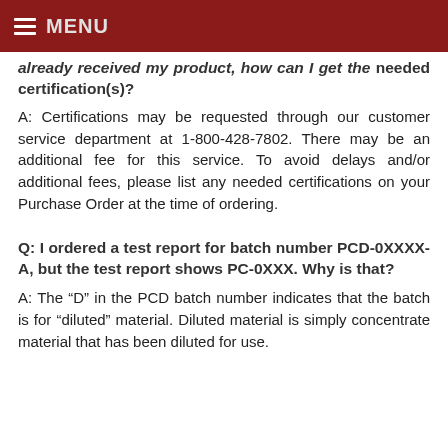MENU
already received my product, how can I get the needed certification(s)?
A: Certifications may be requested through our customer service department at 1-800-428-7802. There may be an additional fee for this service. To avoid delays and/or additional fees, please list any needed certifications on your Purchase Order at the time of ordering.
Q: I ordered a test report for batch number PCD-0XXXX-A, but the test report shows PC-0XXX. Why is that?
A: The “D” in the PCD batch number indicates that the batch is for “diluted” material. Diluted material is simply concentrate material that has been diluted for use.